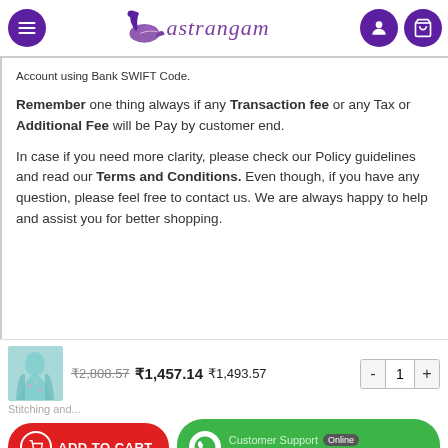Vastrangam
Account using Bank SWIFT Code.
Remember one thing always if any Transaction fee or any Tax or Additional Fee will be Pay by customer end.
In case if you need more clarity, please check our Policy guidelines and read our Terms and Conditions. Even though, if you have any question, please feel free to contact us. We are always happy to help and assist you for better shopping.
[Figure (photo): Product image of a light blue/teal saree]
₹2,808.57  ₹1,457.14  ₹1,493.57  -  1  +
Stitching and...
ADD TO CART
Customer Support Online
Enquiry on WhatsApp